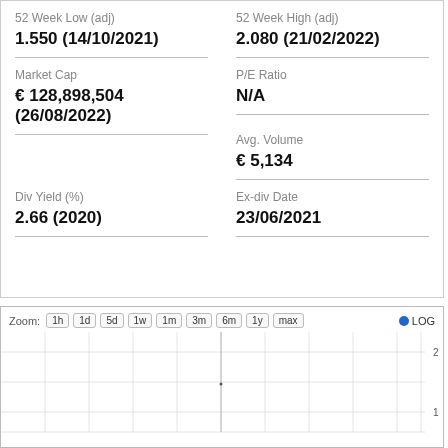52 Week Low (adj)
1.550 (14/10/2021)
52 Week High (adj)
2.080 (21/02/2022)
Market Cap
€ 128,898,504 (26/08/2022)
P/E Ratio
N/A
Avg. Volume
€ 5,134
Div Yield (%)
2.66 (2020)
Ex-div Date
23/06/2021
[Figure (continuous-plot): Stock price chart with zoom controls (1h, 1d, 5d, 1w, 1m, 3m, 6m, 1y, max) and LOG toggle. Shows a mostly empty price chart with y-axis values of 2 and 1 visible on the right side. A faint vertical line appears near the center.]